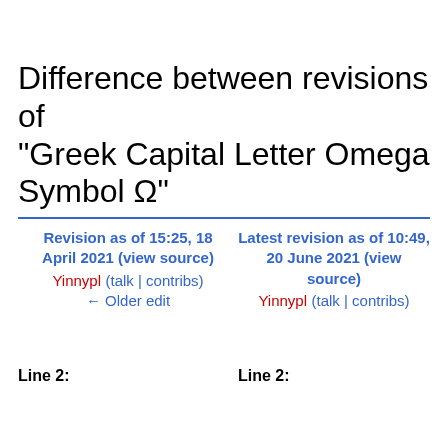Difference between revisions of "Greek Capital Letter Omega Symbol Ω"
Revision as of 15:25, 18 April 2021 (view source)
Yinnypl (talk | contribs)
← Older edit
Latest revision as of 10:49, 20 June 2021 (view source)
Yinnypl (talk | contribs)
Line 2:
Line 2: